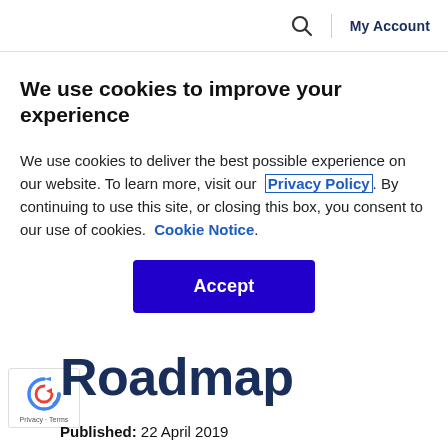🔍 | My Account
We use cookies to improve your experience
We use cookies to deliver the best possible experience on our website. To learn more, visit our  Privacy Policy . By continuing to use this site, or closing this box, you consent to our use of cookies.  Cookie Notice .
Accept
Roadmap
Published: 22 April 2019